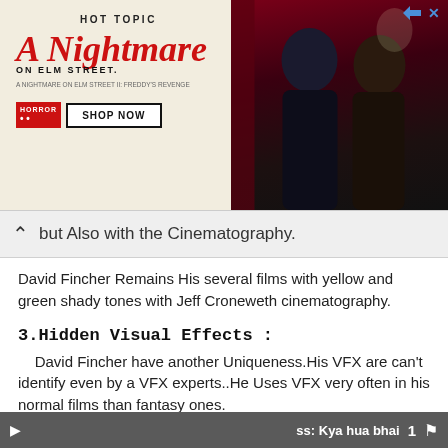[Figure (screenshot): Hot Topic advertisement banner for 'A Nightmare on Elm Street' merchandise showing two young people in dark clothing with a red curtain background and a 'Shop Now' button]
but Also with the Cinematography.
David Fincher Remains His several films with yellow and green shady tones with Jeff Croneweth cinematography.
3.Hidden Visual Effects :
David Fincher have another Uniqueness.His VFX are can't identify even by a VFX experts..He Uses VFX very often in his normal films than fantasy ones.
*He Use It For storytelling...
ss: Kya hua bhai  1